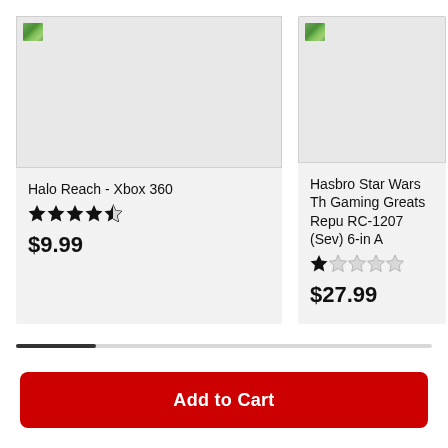[Figure (screenshot): Product card for Halo Reach - Xbox 360 showing product image placeholder, 4.5 star rating, and price $9.99]
Halo Reach - Xbox 360
★★★★½ (4.5 stars)
$9.99
[Figure (screenshot): Partial product card for Hasbro Star Wars The Gaming Greats Repu RC-1207 (Sev) 6-in A, showing 1.5 star rating and price $27.99]
Hasbro Star Wars Th Gaming Greats Repu RC-1207 (Sev) 6-in A
★☆☆☆☆ (1 star)
$27.99
Add to Cart